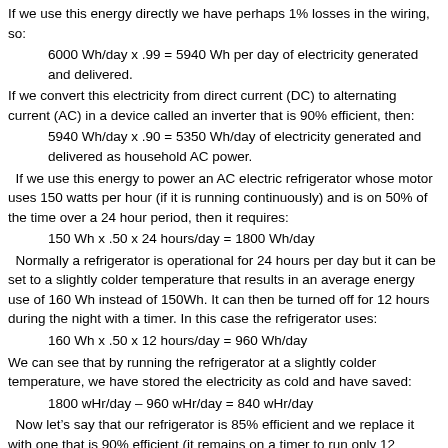If we use this energy directly we have perhaps 1% losses in the wiring, so:
6000 Wh/day x .99 = 5940 Wh per day of electricity generated and delivered.
If we convert this electricity from direct current (DC) to alternating current (AC) in a device called an inverter that is 90% efficient, then:
5940 Wh/day x .90 = 5350 Wh/day of electricity generated and delivered as household AC power.
If we use this energy to power an AC electric refrigerator whose motor uses 150 watts per hour (if it is running continuously) and is on 50% of the time over a 24 hour period, then it requires:
150 Wh x .50 x 24 hours/day = 1800 Wh/day
Normally a refrigerator is operational for 24 hours per day but it can be set to a slightly colder temperature that results in an average energy use of 160 Wh instead of 150Wh. It can then be turned off for 12 hours during the night with a timer. In this case the refrigerator uses:
160 Wh x .50 x 12 hours/day = 960 Wh/day
We can see that by running the refrigerator at a slightly colder temperature, we have stored the electricity as cold and have saved:
1800 wHr/day – 960 wHr/day = 840 wHr/day
Now let's say that our refrigerator is 85% efficient and we replace it with one that is 90% efficient (it remains on a timer to run only 12 hours/day). This yields a savings of 5% of the energy used by the less efficient model: